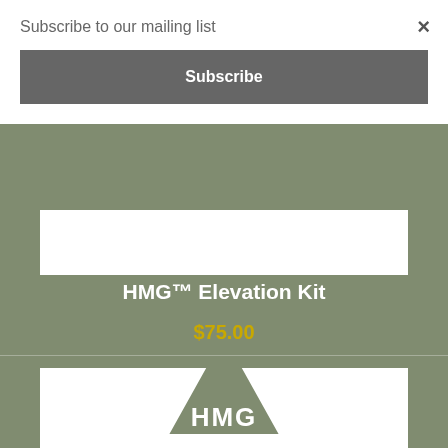Subscribe to our mailing list
Subscribe
×
[Figure (photo): Partially visible white product image area at top]
HMG™ Elevation Kit
$75.00
[Figure (photo): HMG triangular embroidered patch on white background, olive green triangle with white border and HMG text inside]